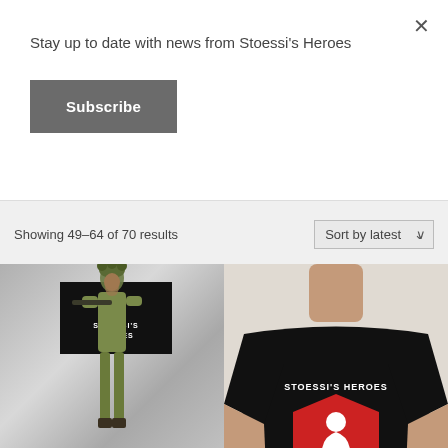Stay up to date with news from Stoessi's Heroes
Subscribe
Showing 49–64 of 70 results
Sort by latest
[Figure (photo): Product image showing a Stoessi's Heroes miniature figure of a soldier in camouflage gear holding a rifle, with the Stoessi's Heroes logo (black box with white shield and soldier silhouette) overlaid in top area. Smoky grey background.]
[Figure (photo): Man wearing a black t-shirt with the Stoessi's Heroes logo printed on chest: a red shield shape with a white soldier silhouette and text 'STOESSI'S HEROES' above it. Beige/cream wall background.]